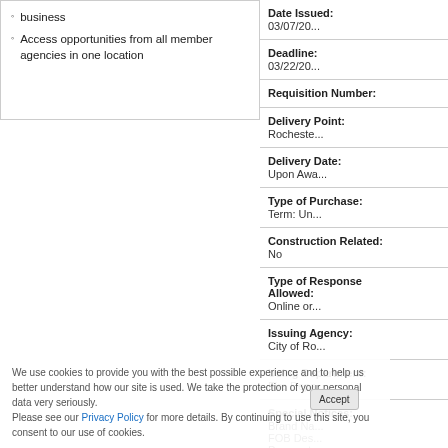business
Access opportunities from all member agencies in one location
| Field | Value |
| --- | --- |
| Date Issued: | 03/07/20... |
| Deadline: | 03/22/20... |
| Requisition Number: |  |
| Delivery Point: | Rocheste... |
| Delivery Date: | Upon Awa... |
| Type of Purchase: | Term: Un... |
| Construction Related: | No |
| Type of Response Allowed: | Online or... |
| Issuing Agency: | City of Ro... |
| Using Department: | Fire Depa... |
| Special Notices: | Brand Na... FOB Des... Payment... |
We use cookies to provide you with the best possible experience and to help us better understand how our site is used. We take the protection of your personal data very seriously.
Please see our Privacy Policy for more details. By continuing to use this site, you consent to our use of cookies.